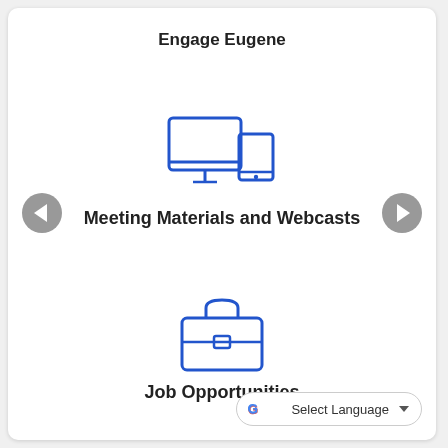Engage Eugene
[Figure (illustration): Blue outline icon of a desktop monitor and tablet device side by side]
Meeting Materials and Webcasts
[Figure (illustration): Blue outline icon of a briefcase/toolbox]
Job Opportunities
G Select Language